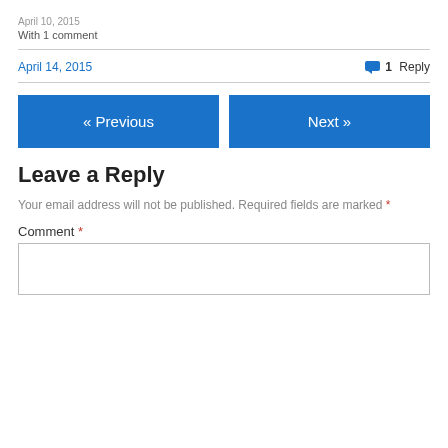April 10, 2015
With 1 comment
April 14, 2015
1 Reply
« Previous
Next »
Leave a Reply
Your email address will not be published. Required fields are marked *
Comment *